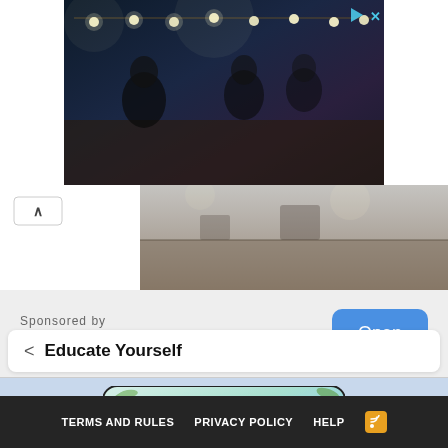[Figure (photo): Dark bar/restaurant scene at night with string lights, people seated, advertisement overlay with play and close icons]
[Figure (photo): Collapsed advertisement bar showing restaurant interior with a collapse/chevron-up button on the left]
Sponsored by
marondahomes.com
[Figure (other): Open button (blue rounded rectangle) for marondahomes.com advertisement]
[Figure (illustration): Avian Organics banner advertisement with green leaves, parrot, fruits, seeds, and a pink product bag]
< Educate Yourself
TERMS AND RULES   PRIVACY POLICY   HELP   [RSS icon]